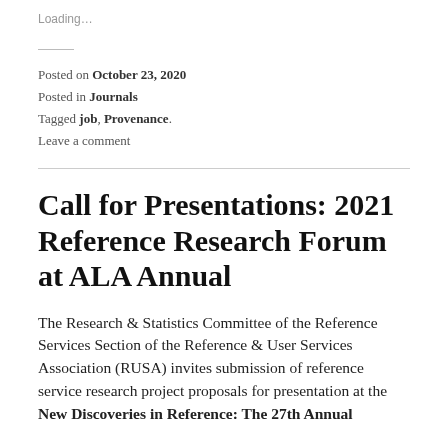Loading…
Posted on October 23, 2020
Posted in Journals
Tagged job, Provenance.
Leave a comment
Call for Presentations: 2021 Reference Research Forum at ALA Annual
The Research & Statistics Committee of the Reference Services Section of the Reference & User Services Association (RUSA) invites submission of reference service research project proposals for presentation at the New Discoveries in Reference: The 27th Annual